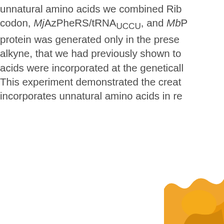unnatural amino acids we combined Ribosome with a reassigned codon, MjAzPheRS/tRNA_UCCU, and MbPylRS/tRNA. The protein was generated only in the presence of azido and alkyne, that we had previously shown to confirm that both amino acids were incorporated at the genetically encoded positions. This experiment demonstrated the creation of a ribosome that incorporates unnatural amino acids in response to
[Figure (illustration): Partial view of an orange blob/shape at the bottom-right corner of the page, likely part of a larger illustration or diagram.]